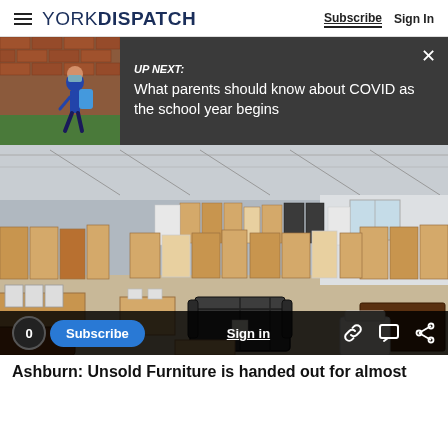YORK DISPATCH | Subscribe | Sign In
UP NEXT: What parents should know about COVID as the school year begins
[Figure (photo): Interior of a large warehouse furniture showroom filled with wooden tables, chairs, shelving units, sofas, and other furniture arranged in rows on a concrete floor.]
Ashburn: Unsold Furniture is handed out for almost